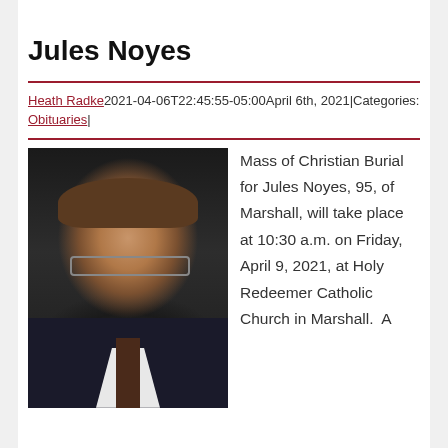Jules Noyes
Heath Radke2021-04-06T22:45:55-05:00April 6th, 2021|Categories: Obituaries|
[Figure (photo): Portrait photo of Jules Noyes, an elderly man wearing glasses and a dark suit with a tie, smiling against a dark background.]
Mass of Christian Burial for Jules Noyes, 95, of Marshall, will take place at 10:30 a.m. on Friday, April 9, 2021, at Holy Redeemer Catholic Church in Marshall.  A